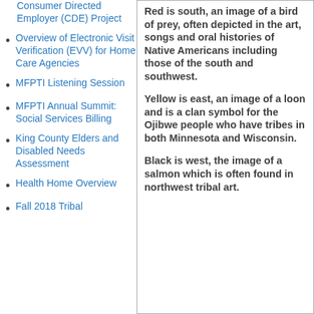Consumer Directed Employer (CDE) Project
Overview of Electronic Visit Verification (EVV) for Home Care Agencies
MFPTI Listening Session
MFPTI Annual Summit: Social Services Billing
King County Elders and Disabled Needs Assessment
Health Home Overview
Fall 2018 Tribal
Red is south, an image of a bird of prey, often depicted in the art, songs and oral histories of Native Americans including those of the south and southwest.
Yellow is east, an image of a loon and is a clan symbol for the Ojibwe people who have tribes in both Minnesota and Wisconsin.
Black is west, the image of a salmon which is often found in northwest tribal art.